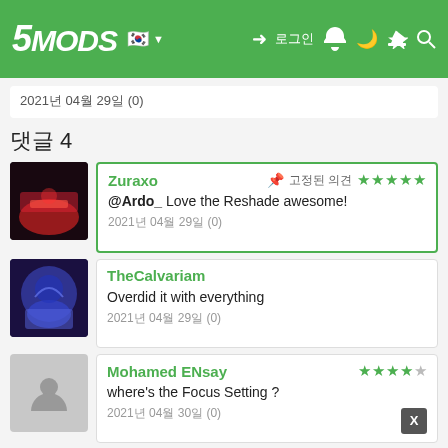5MODS - comments page header with logo, Korean flag, navigation icons
2021년 04월 29일 (0)
댓글 4
Zuraxo - 고정된 의견 - ★★★★★ - @Ardo_ Love the Reshade awesome! - 2021년 04월 29일 (0)
TheCalvariam - Overdid it with everything - 2021년 04월 29일 (0)
Mohamed ENsay - ★★★★☆ - where's the Focus Setting ? - 2021년 04월 30일 (0)
Canadian mods